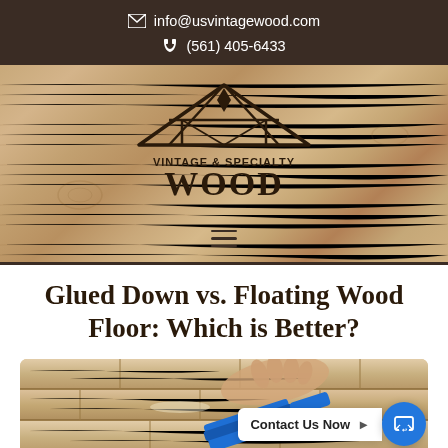info@usvintagewood.com  (561) 405-6433
[Figure (logo): Vintage & Specialty Wood company logo — house/barn roof frame shape above text 'VINTAGE & SPECIALTY WOOD' on wood-grain background with hamburger menu icon]
Glued Down vs. Floating Wood Floor: Which is Better?
[Figure (photo): Hands applying glue to wood floor planks with a blue spreader tool, showing the glue-down flooring installation process]